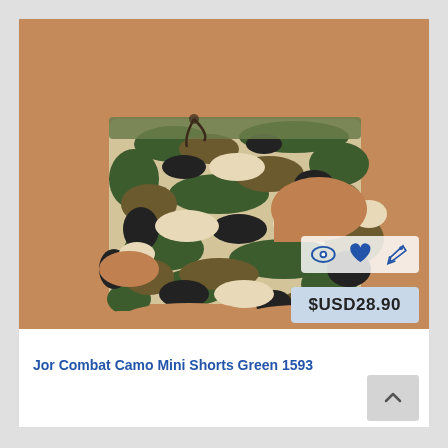[Figure (photo): Product photo of camouflage mini shorts (Jor Combat Camo Mini Shorts Green 1593) worn by a male model, showing green/black/tan camouflage pattern with drawstring waist and side pocket. Overlay icons for quick view, wishlist, and cart. Price badge showing $USD28.90.]
$USD28.90
Jor Combat Camo Mini Shorts Green 1593